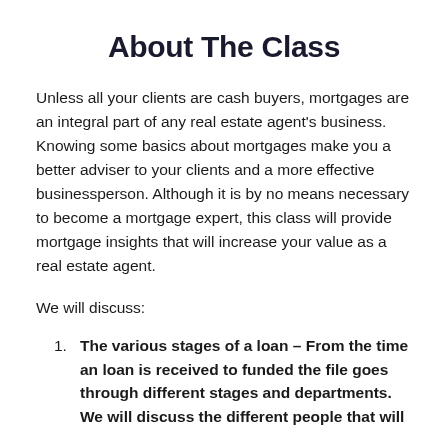About The Class
Unless all your clients are cash buyers, mortgages are an integral part of any real estate agent's business. Knowing some basics about mortgages make you a better adviser to your clients and a more effective businessperson. Although it is by no means necessary to become a mortgage expert, this class will provide mortgage insights that will increase your value as a real estate agent.
We will discuss:
The various stages of a loan – From the time an loan is received to funded the file goes through different stages and departments. We will discuss the different people that will